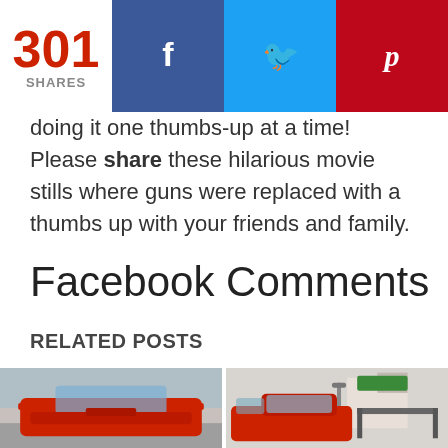301 SHARES | Facebook share | Twitter share | Pinterest share
doing it one thumbs-up at a time! Please share these hilarious movie stills where guns were replaced with a thumbs up with your friends and family.
Facebook Comments
RELATED POSTS
[Figure (photo): Two red cars side by side as related post thumbnails]